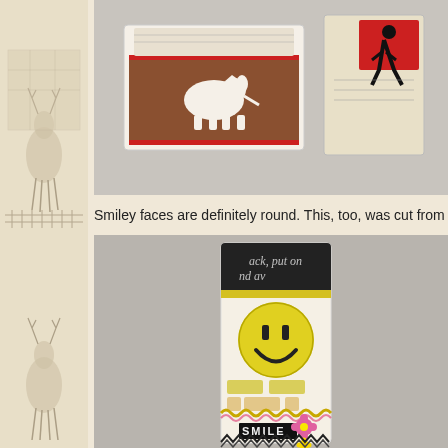[Figure (illustration): Left side vintage sepia illustration strip showing deer/stag figures near fence/building, repeated vertically]
[Figure (photo): Top photo of handmade craft items: a matchbox with white dog silhouette on brown background, red border, and a walking man icon card, on grey surface]
Smiley faces are definitely round. This, too, was cut from a play
[Figure (photo): Bottom photo of a bookmark/tag craft: cream background with black script text panel at top, large yellow smiley face button in center, yellow stamped brick pattern, pink/orange ric-rac trim, black label reading SMILE with pink flower embellishments, black chevron zigzag border at bottom]